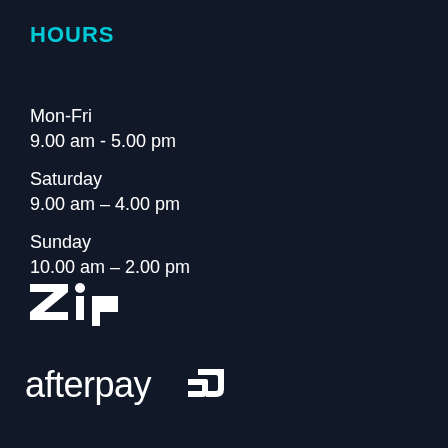HOURS
Mon-Fri
9.00 am - 5.00 pm
Saturday
9.00 am – 4.00 pm
Sunday
10.00 am – 2.00 pm
[Figure (logo): Zip payment logo in white on dark background]
[Figure (logo): Afterpay payment logo in white on dark background]